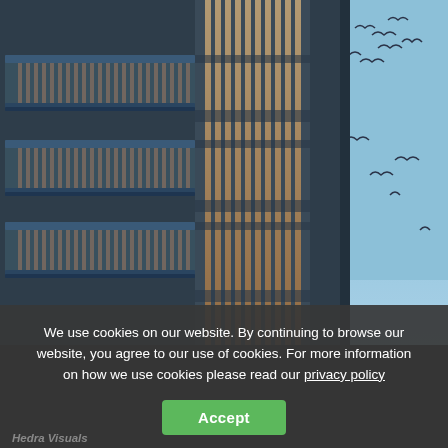[Figure (illustration): Architectural rendering of a modern high-rise residential building with blue/grey concrete facade, vertical wooden slat elements, curved balconies with glass railings, and birds flying in the blue sky to the right]
We use cookies on our website. By continuing to browse our website, you agree to our use of cookies. For more information on how we use cookies please read our privacy policy
Accept
Hedra Visuals